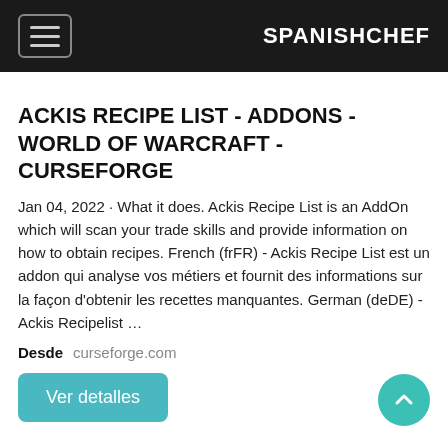SPANISHCHEF
ACKIS RECIPE LIST - ADDONS - WORLD OF WARCRAFT - CURSEFORGE
Jan 04, 2022 · What it does. Ackis Recipe List is an AddOn which will scan your trade skills and provide information on how to obtain recipes. French (frFR) - Ackis Recipe List est un addon qui analyse vos métiers et fournit des informations sur la façon d'obtenir les recettes manquantes. German (deDE) - Ackis Recipelist …
Desde   curseforge.com
Ver detalles
MAN GIVEN MAXIMUM SENTENCE IN 2019 SHOOTING DEATH ...
Feb 04, 2022 · Man Given Maximum Sentence in 2019 shooting death...